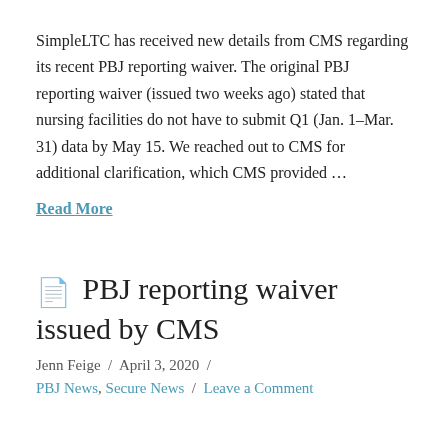SimpleLTC has received new details from CMS regarding its recent PBJ reporting waiver. The original PBJ reporting waiver (issued two weeks ago) stated that nursing facilities do not have to submit Q1 (Jan. 1–Mar. 31) data by May 15. We reached out to CMS for additional clarification, which CMS provided ...
Read More
PBJ reporting waiver issued by CMS
Jenn Feige / April 3, 2020 /
PBJ News, Secure News / Leave a Comment